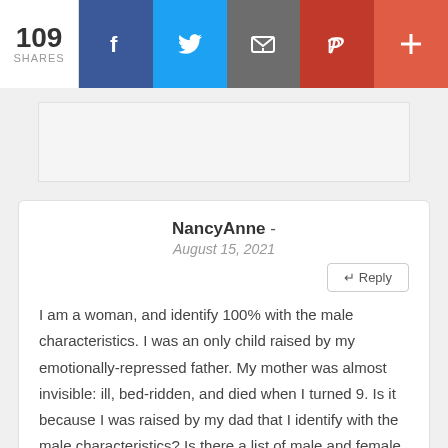109 SHARES
[Figure (infographic): Social share bar with Facebook, Twitter, Email, Pinterest, and More buttons]
NancyAnne - August 15, 2021
I am a woman, and identify 100% with the male characteristics. I was an only child raised by my emotionally-repressed father. My mother was almost invisible: ill, bed-ridden, and died when I turned 9. Is it because I was raised by my dad that I identify with the male characteristics? Is there a list of male and female